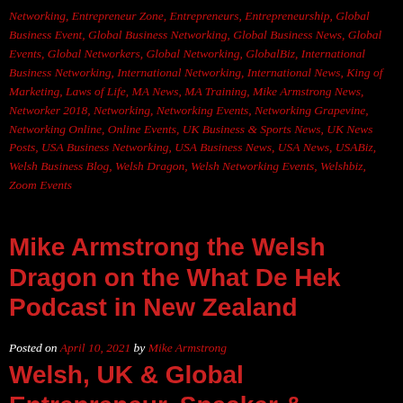Networking, Entrepreneur Zone, Entrepreneurs, Entrepreneurship, Global Business Event, Global Business Networking, Global Business News, Global Events, Global Networkers, Global Networking, GlobalBiz, International Business Networking, International Networking, International News, King of Marketing, Laws of Life, MA News, MA Training, Mike Armstrong News, Networker 2018, Networking, Networking Events, Networking Grapevine, Networking Online, Online Events, UK Business & Sports News, UK News Posts, USA Business Networking, USA Business News, USA News, USABiz, Welsh Business Blog, Welsh Dragon, Welsh Networking Events, Welshbiz, Zoom Events
Mike Armstrong the Welsh Dragon on the What De Hek Podcast in New Zealand
Posted on April 10, 2021 by Mike Armstrong
Welsh, UK & Global Entrepreneur, Speaker & Podcaster Mike Armstrong a.k.a